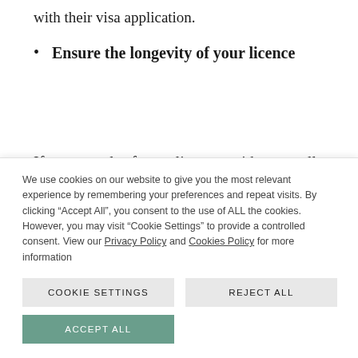with their visa application.
Ensure the longevity of your licence
If you apply for a licence without really knowing what you are doing, you may if you are lucky be granted a licence. Even if you
We use cookies on our website to give you the most relevant experience by remembering your preferences and repeat visits. By clicking “Accept All”, you consent to the use of ALL the cookies. However, you may visit “Cookie Settings” to provide a controlled consent. View our Privacy Policy and Cookies Policy for more information
COOKIE SETTINGS
REJECT ALL
ACCEPT ALL